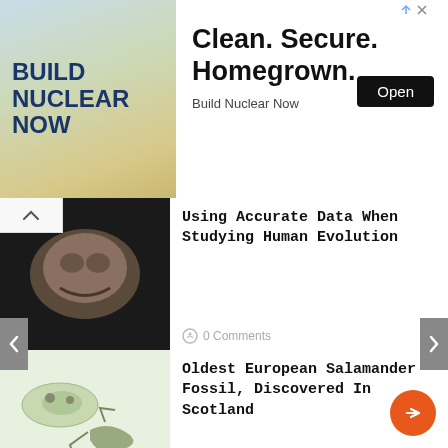[Figure (other): Advertisement banner: BUILD NUCLEAR NOW with Clean. Secure. Homegrown. headline and Open button]
Using Accurate Data When Studying Human Evolution — 0 Comments
Oldest European Salamander Fossil, Discovered In Scotland — 0 Comments
Entombed Together: Rare Fossil Flower And Parasitic Wasp Make For Amber Artwork — 0 Comments
Paleobiology: Complex Family Relationships — 0 Comments